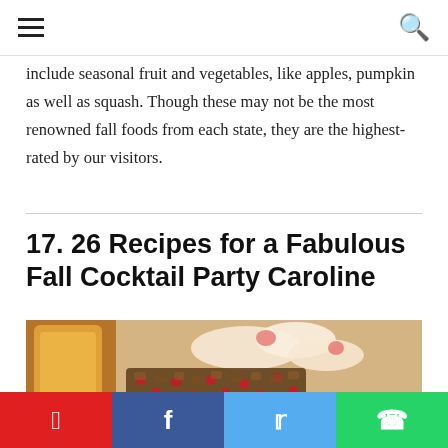☰  🔍
include seasonal fruit and vegetables, like apples, pumpkin as well as squash. Though these may not be the most renowned fall foods from each state, they are the highest-rated by our visitors.
17. 26 Recipes for a Fabulous Fall Cocktail Party Caroline
[Figure (photo): Close-up food photo showing apple slices on a wooden board with nuts and dried cranberries topping, and a glass of amber liquid (apple juice or cider) in the background.]
Pinterest | Facebook | Twitter | WhatsApp